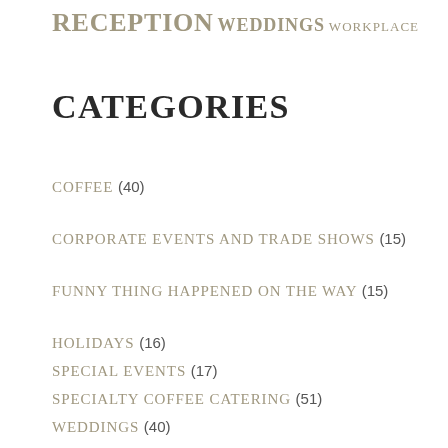RECEPTION WEDDINGS WORKPLACE
CATEGORIES
COFFEE (40)
CORPORATE EVENTS AND TRADE SHOWS (15)
FUNNY THING HAPPENED ON THE WAY (15)
HOLIDAYS (16)
SPECIAL EVENTS (17)
SPECIALTY COFFEE CATERING (51)
WEDDINGS (40)
ARCHIVES